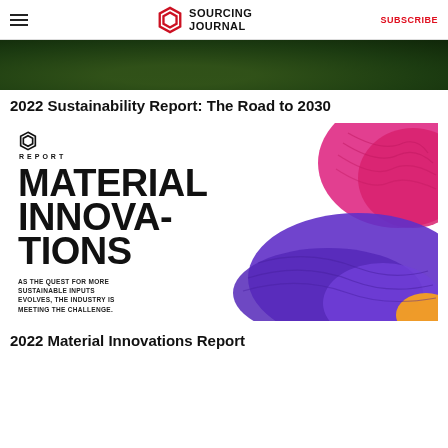SOURCING JOURNAL | SUBSCRIBE
[Figure (photo): Green foliage/nature aerial photo banner]
2022 Sustainability Report: The Road to 2030
[Figure (illustration): Material Innovations report cover with colorful abstract fabric textures in pink, blue, purple and orange. Shows Sourcing Journal REPORT logo and text: MATERIAL INNOVATIONS - AS THE QUEST FOR MORE SUSTAINABLE INPUTS EVOLVES, THE INDUSTRY IS MEETING THE CHALLENGE.]
2022 Material Innovations Report